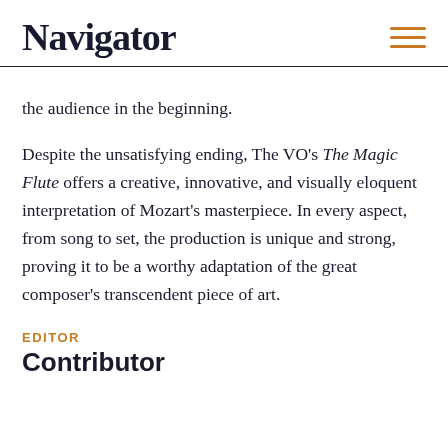Navigator
the audience in the beginning.
Despite the unsatisfying ending, The VO's The Magic Flute offers a creative, innovative, and visually eloquent interpretation of Mozart's masterpiece. In every aspect, from song to set, the production is unique and strong, proving it to be a worthy adaptation of the great composer's transcendent piece of art.
EDITOR
Contributor